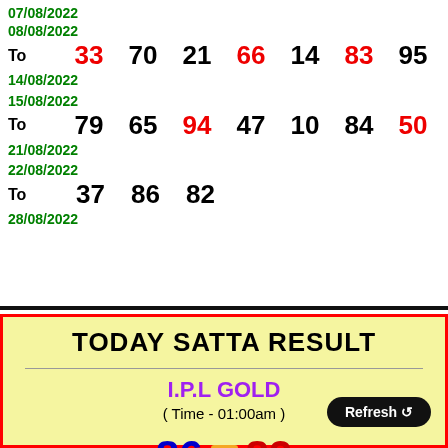| Date Range | To | N1 | N2 | N3 | N4 | N5 | N6 | N7 |
| --- | --- | --- | --- | --- | --- | --- | --- | --- |
| 07/08/2022 | To |  |  |  |  |  |  |  |
| 08/08/2022 | To | 33 | 70 | 21 | 66 | 14 | 83 | 95 |
| 14/08/2022 |  |  |  |  |  |  |  |  |
| 15/08/2022 | To | 79 | 65 | 94 | 47 | 10 | 84 | 50 |
| 21/08/2022 |  |  |  |  |  |  |  |  |
| 22/08/2022 | To | 37 | 86 | 82 |  |  |  |  |
| 28/08/2022 |  |  |  |  |  |  |  |  |
TODAY SATTA RESULT
I.P.L GOLD
( Time - 01:00am )
86  NEW  82